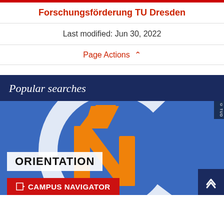Forschungsförderung TU Dresden
Last modified: Jun 30, 2022
Page Actions ∧
Popular searches
[Figure (screenshot): TU Dresden Campus Navigator interface showing a stylized compass/navigation logo with orange and white elements on a blue background. Text reads ORIENTATION and CAMPUS NAVIGATOR with a red button. A copyright TUD tag appears top right and an up-arrow button bottom right.]